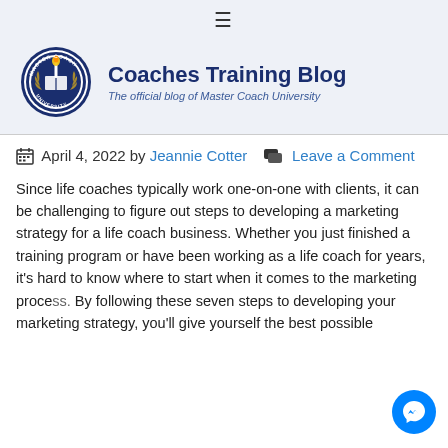≡
[Figure (logo): Master Coach University circular logo with torch and laurel wreath, dark blue and white]
Coaches Training Blog
The official blog of Master Coach University
April 4, 2022 by Jeannie Cotter  Leave a Comment
Since life coaches typically work one-on-one with clients, it can be challenging to figure out steps to developing a marketing strategy for a life coach business. Whether you just finished a training program or have been working as a life coach for years, it's hard to know where to start when it comes to the marketing process. By following these seven steps to developing your marketing strategy, you'll give yourself the best possible